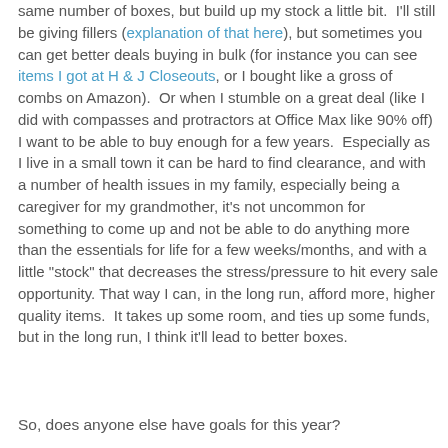same number of boxes, but build up my stock a little bit.  I'll still be giving fillers (explanation of that here), but sometimes you can get better deals buying in bulk (for instance you can see items I got at H & J Closeouts, or I bought like a gross of combs on Amazon).  Or when I stumble on a great deal (like I did with compasses and protractors at Office Max like 90% off) I want to be able to buy enough for a few years.  Especially as I live in a small town it can be hard to find clearance, and with a number of health issues in my family, especially being a caregiver for my grandmother, it's not uncommon for something to come up and not be able to do anything more than the essentials for life for a few weeks/months, and with a little "stock" that decreases the stress/pressure to hit every sale opportunity. That way I can, in the long run, afford more, higher quality items.  It takes up some room, and ties up some funds, but in the long run, I think it'll lead to better boxes.
So, does anyone else have goals for this year?